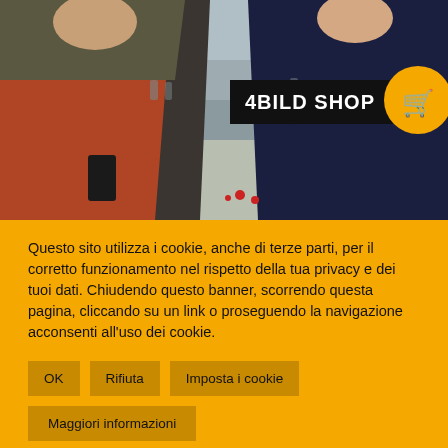[Figure (photo): Two people standing outdoors in a public square/plaza. On the left, a man in an olive/grey jacket holding a phone, wearing a red shirt underneath. On the right, a woman with short hair in a navy outfit with arms crossed. Background shows a wide open plaza with other people. A black label reading '4BILD SHOP' and a yellow circle with a white shopping cart icon are overlaid on the photo.]
Questo sito utilizza i cookie, anche di terze parti, per il corretto funzionamento nel rispetto della tua privacy e dei tuoi dati. Chiudendo questo banner, scorrendo questa pagina, cliccando su un link o proseguendo la navigazione acconsenti all'uso dei cookie.
OK
Rifiuta
Imposta i cookie
Maggiori informazioni